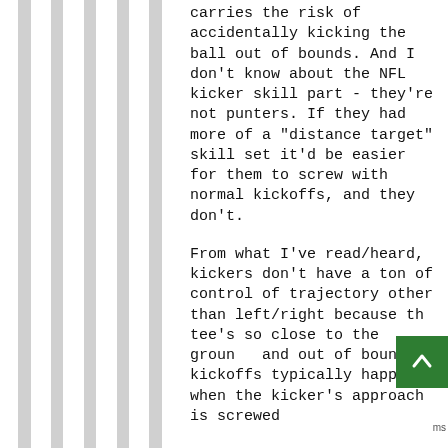carries the risk of accidentally kicking the ball out of bounds. And I don't know about the NFL kicker skill part - they're not punters. If they had more of a "distance target" skill set it'd be easier for them to screw with normal kickoffs, and they don't.
From what I've read/heard, kickers don't have a ton of control of trajectory other than left/right because the tee's so close to the ground, and out of bounds kickoffs typically happen when the kicker's approach is screwed